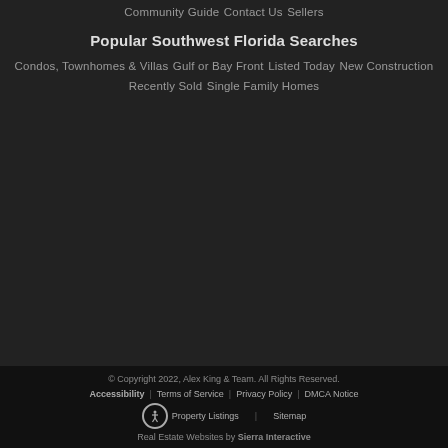Community Guide
Contact Us
Sellers
Popular Southwest Florida Searches
Condos, Townhomes & Villas
Gulf or Bay Front
Listed Today
New Construction
Recently Sold
Single Family Homes
© Copyright 2022, Alex King & Team. All Rights Reserved. | Accessibility | Terms of Service | Privacy Policy | DMCA Notice | Property Listings | Sitemap | Real Estate Websites by Sierra Interactive